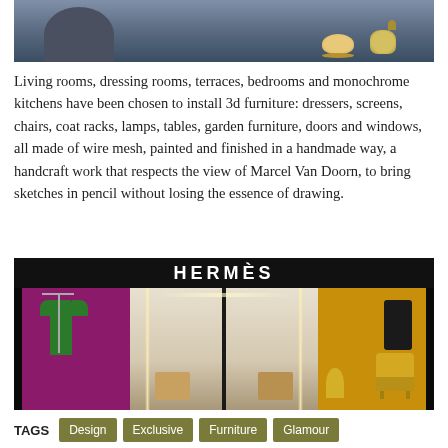[Figure (photo): Top portion of a room/display scene with blue-grey background and decorative items including a teacup and basket on a shelf]
Living rooms, dressing rooms, terraces, bedrooms and monochrome kitchens have been chosen to install 3d furniture: dressers, screens, chairs, coat racks, lamps, tables, garden furniture, doors and windows, all made of wire mesh, painted and finished in a handmade way, a handcraft work that respects the view of Marcel Van Doorn, to bring sketches in pencil without losing the essence of drawing.
[Figure (photo): Hermès luxury store front at night showing illuminated HERMÈS sign above glass entrance with display windows showing clothing and accessories on purple and yellow/orange backgrounds]
TAGS  Design  Exclusive  Furniture  Glamour